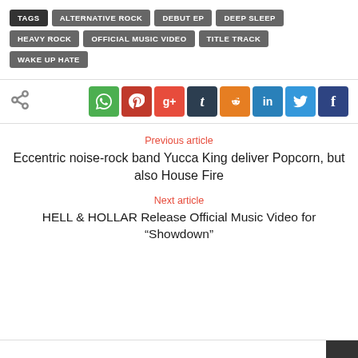TAGS  ALTERNATIVE ROCK  DEBUT EP  DEEP SLEEP  HEAVY ROCK  OFFICIAL MUSIC VIDEO  TITLE TRACK  WAKE UP HATE
[Figure (infographic): Social share bar with share icon and social media buttons: WhatsApp, Pinterest, Google+, Tumblr, Reddit, LinkedIn, Twitter, Facebook]
Previous article
Eccentric noise-rock band Yucca King deliver Popcorn, but also House Fire
Next article
HELL & HOLLAR Release Official Music Video for “Showdown”